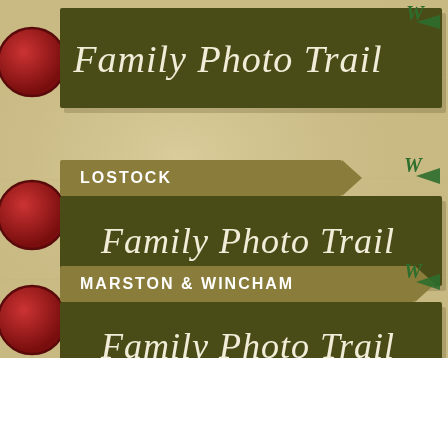[Figure (infographic): A decorative infographic showing three overlapping banner signs for Family Photo Trail locations. Top banner (partially cropped): dark olive green with italic script 'Family Photo Trail'. Middle banner: gold label 'LOSTOCK' above dark olive green with italic script 'Family Photo Trail'. Bottom banner: gold label 'MARSTON & WINCHAM' above dark olive green with italic script 'Family Photo Trail'. Red circular markers on the left with dotted trail lines. Green 'W' letters with arrows decorate the right side. Background is a tan/parchment texture.]